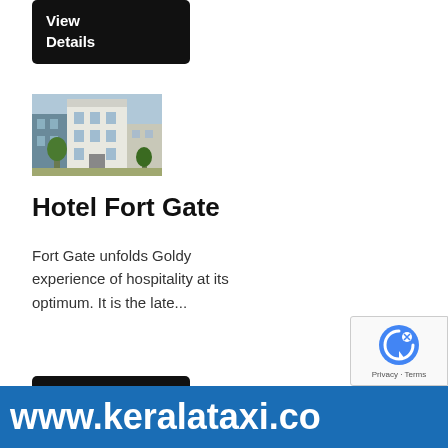[Figure (other): Black 'View Details' button (top, partially cut off)]
[Figure (photo): Photo of Hotel Fort Gate building exterior]
Hotel Fort Gate
Fort Gate unfolds Goldy experience of hospitality at its optimum. It is the late...
[Figure (other): Black 'View Details' button]
View all Hotels →
www.keralataxi.co